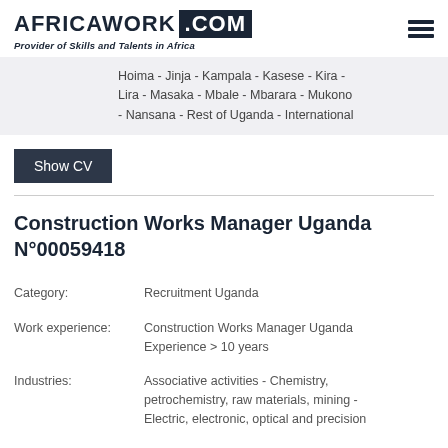AFRICAWORK .COM - Provider of Skills and Talents in Africa
Hoima - Jinja - Kampala - Kasese - Kira - Lira - Masaka - Mbale - Mbarara - Mukono - Nansana - Rest of Uganda - International
Show CV
Construction Works Manager Uganda N°00059418
Category: Recruitment Uganda
Work experience: Construction Works Manager Uganda Experience > 10 years
Industries: Associative activities - Chemistry, petrochemistry, raw materials, mining - Electric, electronic, optical and precision